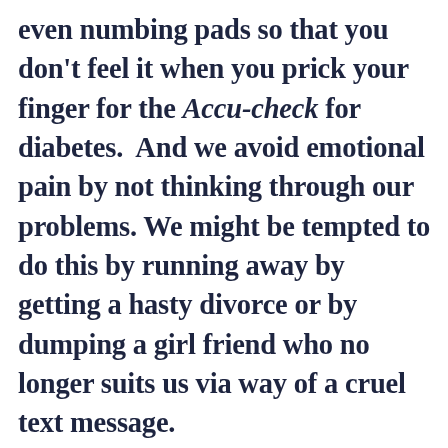even numbing pads so that you don't feel it when you prick your finger for the Accu-check for diabetes.  And we avoid emotional pain by not thinking through our problems. We might be tempted to do this by running away by getting a hasty divorce or by dumping a girl friend who no longer suits us via way of a cruel text message.